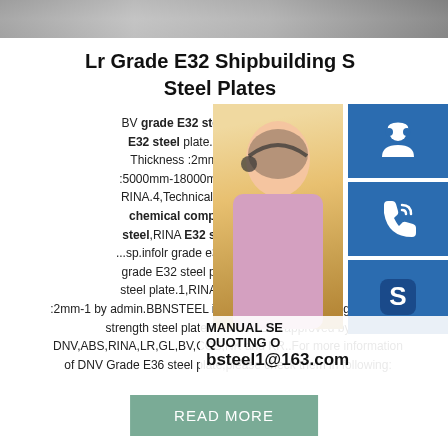[Figure (photo): Top banner photo of metal steel plates on a dark background]
Lr Grade E32 Shipbuilding S Steel Plates
BV grade E32 steel plate-Technology P E32 steel plate.1,RINA E32 Shipbuild Thickness :2mm-120mm.Width 1500 :5000mm-18000mm.3,Standard BV GL L RINA.4,Technical Data :According to the chemical composition and. sell RIN steel,RINA E32 steel,RINA RINA E32 s ...sp.infolr grade e32 shipbuilding steel - H grade E32 steel plate-Technology Park I steel plate.1,RINA E32 Shipbuilding stee :2mm-1 by admin.BBNSTEEL is specialized in supplying extra high strength steel plate in Grade E36 approved by DNV,ABS,RINA,LR,GL,BV,CCS,NK and KR..For more information of DNV Grade E36 steel plate,please check them in following:
[Figure (photo): Woman with headset customer service representative]
[Figure (infographic): Blue icon button with headset/customer service icon]
[Figure (infographic): Blue icon button with phone/call icon]
[Figure (infographic): Blue icon button with Skype icon]
MANUAL SE QUOTING O bsteel1@163.com
[Figure (other): READ MORE button in teal/sage green color]